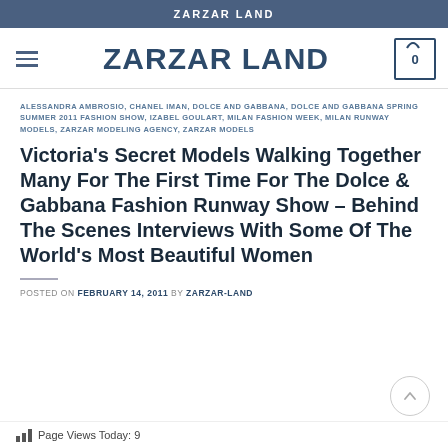ZARZAR LAND
ZARZAR LAND
ALESSANDRA AMBROSIO, CHANEL IMAN, DOLCE AND GABBANA, DOLCE AND GABBANA SPRING SUMMER 2011 FASHION SHOW, IZABEL GOULART, MILAN FASHION WEEK, MILAN RUNWAY MODELS, ZARZAR MODELING AGENCY, ZARZAR MODELS
Victoria's Secret Models Walking Together Many For The First Time For The Dolce & Gabbana Fashion Runway Show – Behind The Scenes Interviews With Some Of The World's Most Beautiful Women
POSTED ON FEBRUARY 14, 2011 BY ZARZAR-LAND
Page Views Today: 9